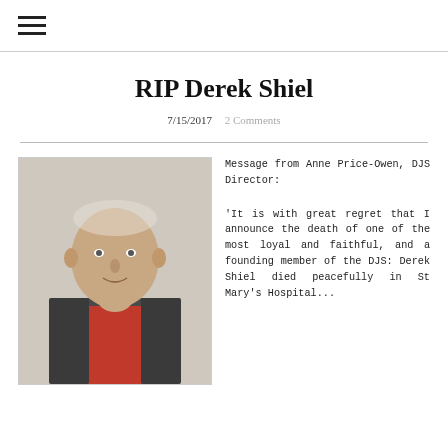☰
RIP Derek Shiel
7/15/2017   2 Comments
[Figure (photo): Portrait photo of an older man wearing a red shirt and dark vest jacket, light background]
Message from Anne Price-Owen, DJS Director:

'It is with great regret that I announce the death of one of the most loyal and faithful, and a founding member of the DJS: Derek Shiel died peacefully in St Mary's Hospital...